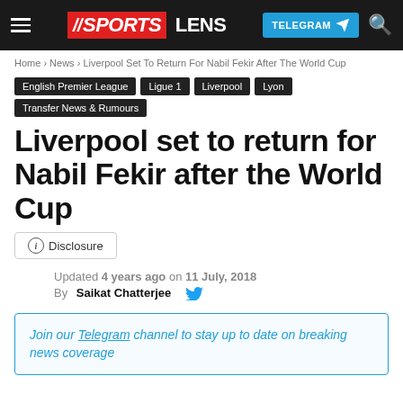SPORTS LENS | TELEGRAM navigation bar
Home › News › Liverpool Set To Return For Nabil Fekir After The World Cup
English Premier League
Ligue 1
Liverpool
Lyon
Transfer News & Rumours
Liverpool set to return for Nabil Fekir after the World Cup
ⓘ Disclosure
Updated 4 years ago on 11 July, 2018
By Saikat Chatterjee
Join our Telegram channel to stay up to date on breaking news coverage